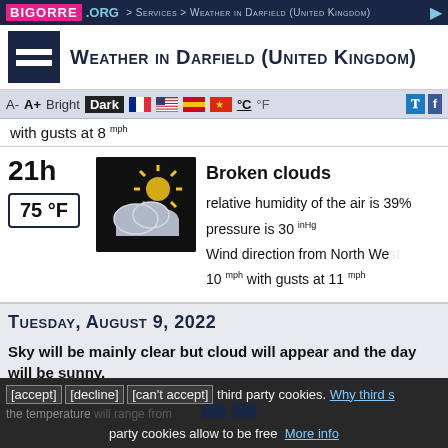BIGORRE.ORG > Services > Weather in Darfield (United Kingdom)
Weather in Darfield (United Kingdom)
with gusts at 8 mph
21h | 75 °F | Broken clouds | relative humidity of the air is 39% | pressure is 30 inHg | Wind direction from North West 10 mph with gusts at 11 mph
Tuesday, August 9, 2022
Sky will be mainly clear but cloud will appear and the day will be sunny.
[accept] [decline] [can't accept] third party cookies. Why third party cookies allow to be free More info